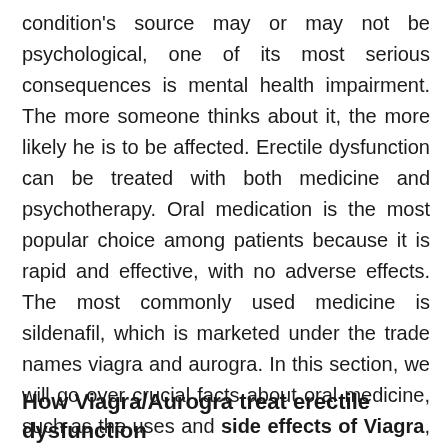condition's source may or may not be psychological, one of its most serious consequences is mental health impairment. The more someone thinks about it, the more likely he is to be affected. Erectile dysfunction can be treated with both medicine and psychotherapy. Oral medication is the most popular choice among patients because it is rapid and effective, with no adverse effects. The most commonly used medicine is sildenafil, which is marketed under the trade names viagra and aurogra. In this section, we will go over crucial facts about oral medicine, such as the uses and side effects of Viagra, as well as where you can buy Viagra online.
How Viagra/Aurogra treat erectile dysfunction